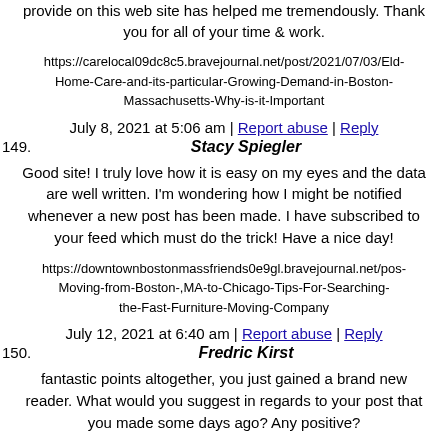provide on this web site has helped me tremendously. Thank you for all of your time & work.
https://carelocal09dc8c5.bravejournal.net/post/2021/07/03/Eld-Home-Care-and-its-particular-Growing-Demand-in-Boston-Massachusetts-Why-is-it-Important
July 8, 2021 at 5:06 am | Report abuse | Reply
149. Stacy Spiegler
Good site! I truly love how it is easy on my eyes and the data are well written. I'm wondering how I might be notified whenever a new post has been made. I have subscribed to your feed which must do the trick! Have a nice day!
https://downtownbostonmassfriends0e9gl.bravejournal.net/pos-Moving-from-Boston-,MA-to-Chicago-Tips-For-Searching-the-Fast-Furniture-Moving-Company
July 12, 2021 at 6:40 am | Report abuse | Reply
150. Fredric Kirst
fantastic points altogether, you just gained a brand new reader. What would you suggest in regards to your post that you made some days ago? Any positive?